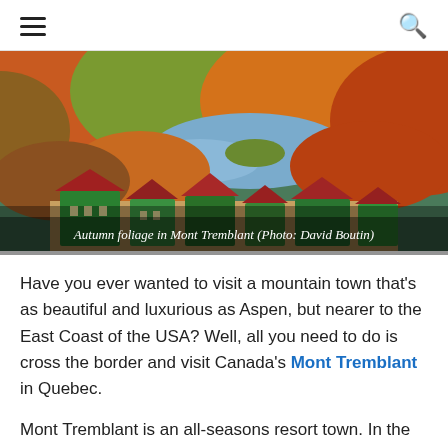≡  🔍
[Figure (photo): Aerial view of Mont Tremblant showing autumn foliage, a lake, and resort buildings with colorful red and green rooftops surrounded by orange and red fall trees.]
Autumn foliage in Mont Tremblant (Photo: David Boutin)
Have you ever wanted to visit a mountain town that's as beautiful and luxurious as Aspen, but nearer to the East Coast of the USA? Well, all you need to do is cross the border and visit Canada's Mont Tremblant in Quebec.
Mont Tremblant is an all-seasons resort town. In the summer, the town is filled with